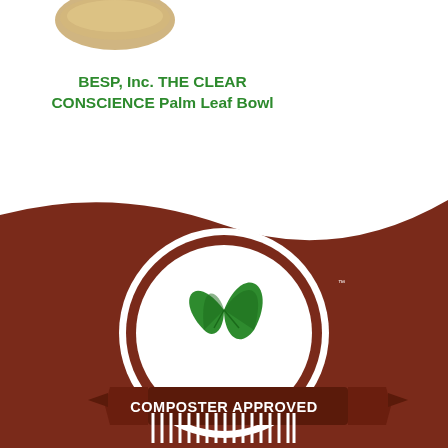[Figure (illustration): Partial view of a palm leaf bowl product at the top of the page]
BESP, Inc. THE CLEAR CONSCIENCE Palm Leaf Bowl
[Figure (logo): Compost Manufacturing Alliance Composter Approved certification badge/logo with green leaf icon and banner on brown background]